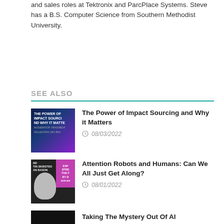and sales roles at Tektronix and ParcPlace Systems. Steve has a B.S. Computer Science from Southern Methodist University.
SEE ALSO
[Figure (photo): Thumbnail image with dark blue and purple gradient background with text THE POWER OF IMPACT SOURCING AND WHY IT MATTERS]
The Power of Impact Sourcing and Why it Matters
08/03/2022
[Figure (photo): Thumbnail image showing a person on left and pink book cover on right]
Attention Robots and Humans: Can We All Just Get Along?
08/01/2022
[Figure (photo): Thumbnail image dark background partially visible]
Taking The Mystery Out Of AI